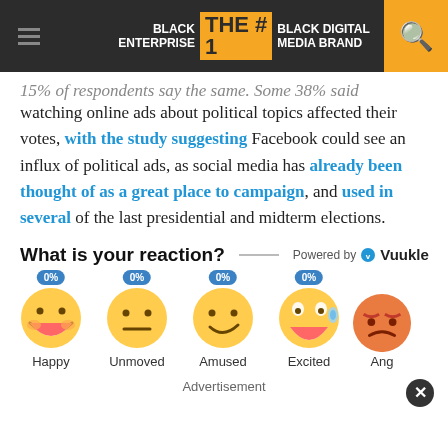BLACK ENTERPRISE THE #1 BLACK DIGITAL MEDIA BRAND
15% of respondents say the same. Some 38% said watching online ads about political topics affected their votes, with the study suggesting Facebook could see an influx of political ads, as social media has already been thought of as a great place to campaign, and used in several of the last presidential and midterm elections.
What is your reaction?
[Figure (infographic): Reaction emoji widget powered by Vuukle showing 5 emoji reactions: Happy 0%, Unmoved 0%, Amused 0%, Excited 0%, Angry (partially visible). Each emoji has a blue 0% badge above it.]
Advertisement